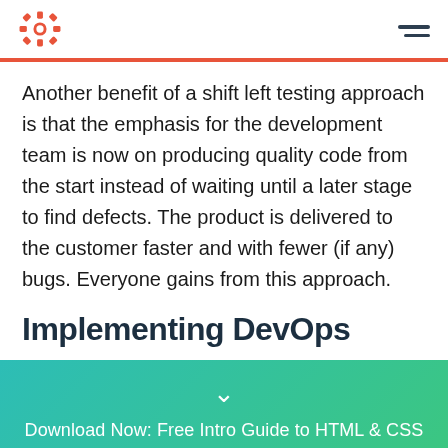HubSpot logo and navigation menu
Another benefit of a shift left testing approach is that the emphasis for the development team is now on producing quality code from the start instead of waiting until a later stage to find defects. The product is delivered to the customer faster and with fewer (if any) bugs. Everyone gains from this approach.
Implementing DevOps
Download Now: Free Intro Guide to HTML & CSS
Get it now